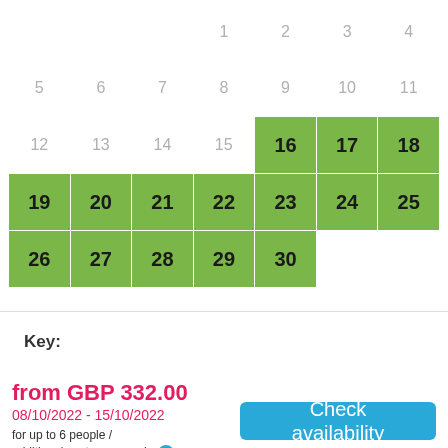[Figure (other): Availability calendar showing October with dates 16-30 highlighted in green (available). Dates 1-15 are greyed out (unavailable). Layout: row with 1-4 (partial, greyed), row 5-11 (greyed), row 12-15 (greyed) + 16-18 (green), row 19-25 (all green), row 26-30 (green).]
Key:
from GBP 332.00
08/10/2022 - 15/10/2022
for up to 6 people / additional costs may apply
Check availability